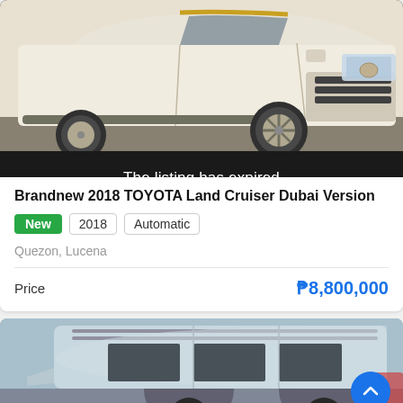[Figure (photo): White Toyota Land Cruiser SUV photo, front and side view, showing wheel, running board, and headlight. Black banner overlay at bottom reads 'The listing has expired'.]
Brandnew 2018 TOYOTA Land Cruiser Dubai Version
New | 2018 | Automatic
Quezon, Lucena
Price  ₱8,800,000
[Figure (photo): Silver/light blue Toyota Land Cruiser SUV, top and side view, partial image showing roof rack, windows, and side mirror. Scroll-to-top button visible.]